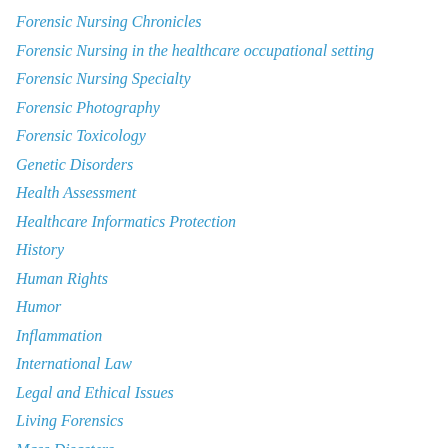Forensic Nursing Chronicles
Forensic Nursing in the healthcare occupational setting
Forensic Nursing Specialty
Forensic Photography
Forensic Toxicology
Genetic Disorders
Health Assessment
Healthcare Informatics Protection
History
Human Rights
Humor
Inflammation
International Law
Legal and Ethical Issues
Living Forensics
Mass Disasters
Mass Graves & Exhumation
Medical Disorder Forensics
Medical Product Liability
Medication Error